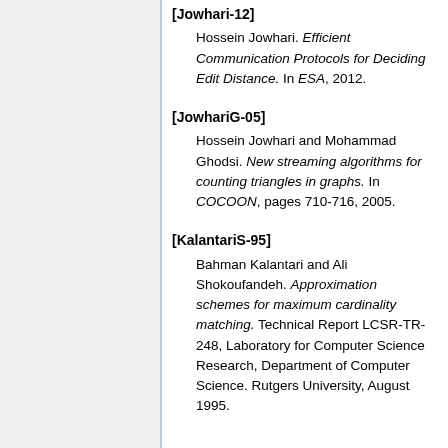[Jowhari-12] Hossein Jowhari. Efficient Communication Protocols for Deciding Edit Distance. In ESA, 2012.
[JowhariG-05] Hossein Jowhari and Mohammad Ghodsi. New streaming algorithms for counting triangles in graphs. In COCOON, pages 710-716, 2005.
[KalantariS-95] Bahman Kalantari and Ali Shokoufandeh. Approximation schemes for maximum cardinality matching. Technical Report LCSR-TR-248, Laboratory for Computer Science Research, Department of Computer Science. Rutgers University, August 1995.